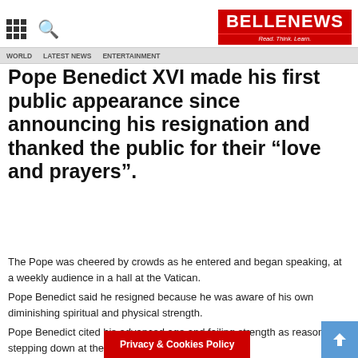BELLE NEWS - Read. Think. Learn.
Pope Benedict XVI made his first public appearance since announcing his resignation and thanked the public for their “love and prayers”.
The Pope was cheered by crowds as he entered and began speaking, at a weekly audience in a hall at the Vatican.
Pope Benedict said he resigned because he was aware of his own diminishing spiritual and physical strength.
Later he will hold what is expected to be his last public Mass, for Ash Wednesday, in St Peter’s Basilica.
Pope Benedict cited his advanced age and failing strength as reasons for stepping down at the end of February.
Privacy & Cookies Policy